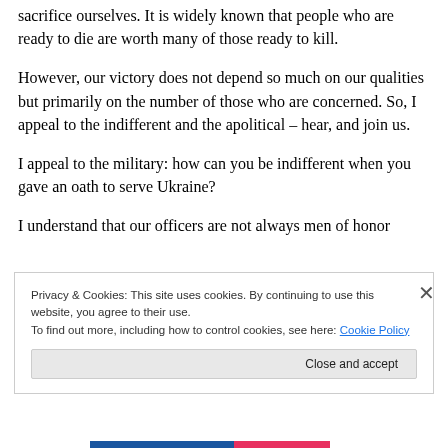sacrifice ourselves. It is widely known that people who are ready to die are worth many of those ready to kill.
However, our victory does not depend so much on our qualities but primarily on the number of those who are concerned. So, I appeal to the indifferent and the apolitical – hear, and join us.
I appeal to the military: how can you be indifferent when you gave an oath to serve Ukraine?
I understand that our officers are not always men of honor
Privacy & Cookies: This site uses cookies. By continuing to use this website, you agree to their use.
To find out more, including how to control cookies, see here: Cookie Policy
Close and accept